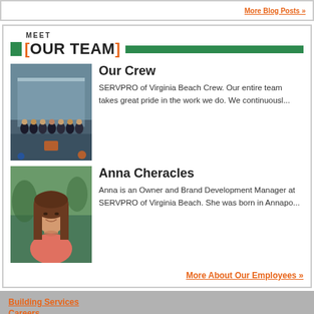More Blog Posts »
MEET [OUR TEAM]
Our Crew
SERVPRO of Virginia Beach Crew. Our entire team takes great pride in the work we do. We continuousl...
[Figure (photo): Group photo of SERVPRO of Virginia Beach crew standing outside a building]
Anna Cheracles
Anna is an Owner and Brand Development Manager at SERVPRO of Virginia Beach. She was born in Annapo...
[Figure (photo): Portrait photo of Anna Cheracles, a woman with long brown hair wearing a coral/pink top, outdoors]
More About Our Employees »
Building Services
Careers
Contact Us